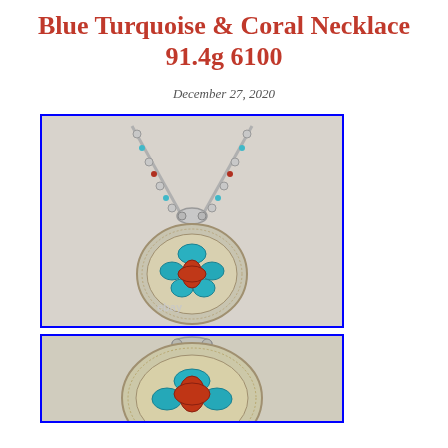Blue Turquoise & Coral Necklace 91.4g 6100
December 27, 2020
[Figure (photo): Photo of a silver Native American squash blossom style necklace with a large oval pendant featuring blue turquoise and coral stones in a silver bezel setting, with turquoise and coral beads along the chain. eBay watermark visible.]
[Figure (photo): Close-up photo of the lower portion of the same necklace pendant showing the silver bezel work and turquoise stone detail.]